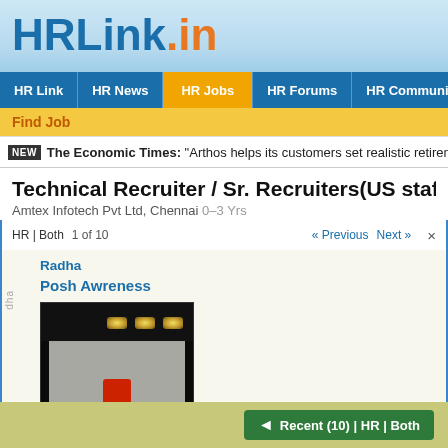HRLink.in
HR Link | HR News | HR Jobs | HR Forums | HR Community | HR
Find Job
NEW The Economic Times: "Arthos helps its customers set realistic retirement goa..."
Technical Recruiter / Sr. Recruiters(US staffing) fo...
Amtex Infotech Pvt Ltd, Chennai 0-3 Yrs
HR | Both  1 of 10  « Previous  Next »  ×
Radha
dha
Posh Awreness
[Figure (photo): A dark conference room/auditorium scene with stage lighting (three spotlight fixtures visible at top), a white projection screen in the background, and a presenter in a red shirt/jacket standing at the front.]
Recent (10) | HR | Both